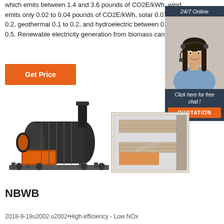which emits between 1.4 and 3.6 pounds of CO2E/kWh, wind emits only 0.02 to 0.04 pounds of CO2E/kWh, solar 0.07 to 0.2, geothermal 0.1 to 0.2, and hydroelectric between 0.1 and 0.5. Renewable electricity generation from biomass can …
[Figure (infographic): Orange 'Get Price' button on left; dark blue chat widget on right with '24/7 Online' label, photo of female customer service agent with headset, 'Click here for free chat!' text, and orange 'QUOTATION' button]
[Figure (photo): Industrial boiler equipment photos: orange/black fire-tube boiler on left and cross-section diagram of boiler on right with watermark]
NBWB
2018-9-19u2002·u2002•High efficiency - Low NOx